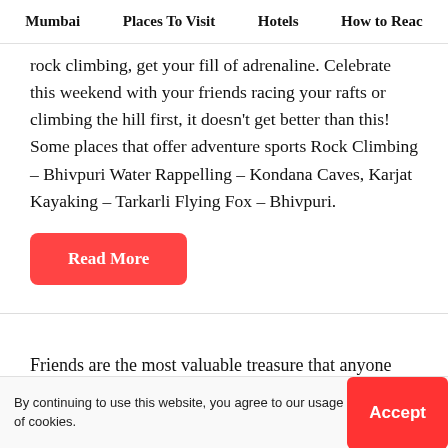Mumbai  Places To Visit  Hotels  How to Reac
rock climbing, get your fill of adrenaline. Celebrate this weekend with your friends racing your rafts or climbing the hill first, it doesn't get better than this! Some places that offer adventure sports Rock Climbing – Bhivpuri Water Rappelling – Kondana Caves, Karjat Kayaking – Tarkarli Flying Fox – Bhivpuri.
Read More
Friends are the most valuable treasure that anyone can ever ask for. So make sure you make your friendship bond stronger by making some happy memories
By continuing to use this website, you agree to our usage of cookies.